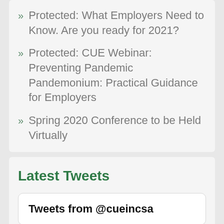» Protected: What Employers Need to Know. Are you ready for 2021?
» Protected: CUE Webinar: Preventing Pandemic Pandemonium: Practical Guidance for Employers
» Spring 2020 Conference to be Held Virtually
Latest Tweets
Tweets from @cueincsa